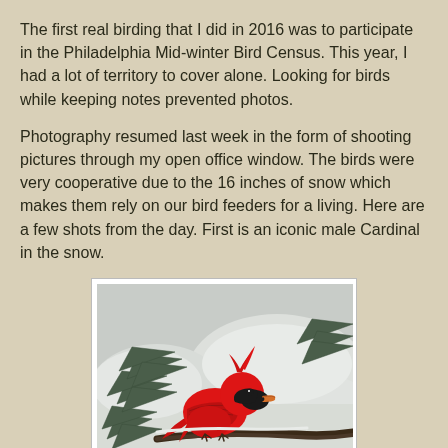The first real birding that I did in 2016 was to participate in the Philadelphia Mid-winter Bird Census. This year, I had a lot of territory to cover alone. Looking for birds while keeping notes prevented photos.
Photography resumed last week in the form of shooting pictures through my open office window. The birds were very cooperative due to the 16 inches of snow which makes them rely on our bird feeders for a living. Here are a few shots from the day. First is an iconic male Cardinal in the snow.
[Figure (photo): A bright red male Northern Cardinal perched on a snowy evergreen branch, with snow-covered background. The bird faces right, showing its distinctive red crest, black mask, and orange beak.]
Cardinal